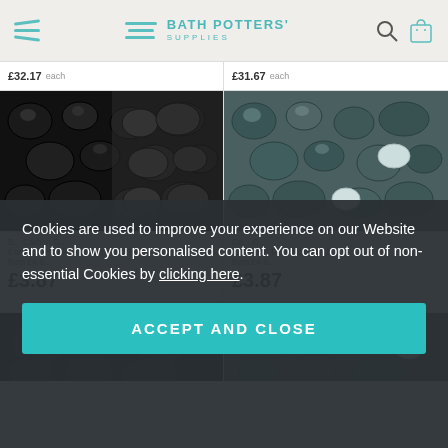Bath Potters' Supplies
[Figure (photo): Black glossy pebble texture mosaic tile product image]
[Figure (photo): Teal/dark grey pebble texture mosaic tile product image]
Black Carbon Earthen Pebble Tile Glaze £B12 from £4.64
£3.87
Gorge Earthen Pebble Tile Glaze £B12 from £4.64
£3.87
[Figure (photo): Partially visible bottom product image left]
[Figure (photo): Partially visible bottom product image right]
Cookies are used to improve your experience on our Website and to show you personalised content. You can opt out of non-essential Cookies by clicking here.
ACCEPT AND CLOSE